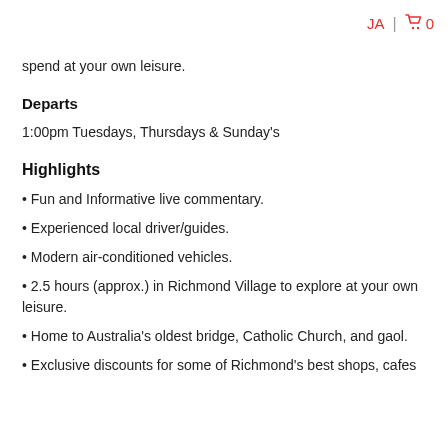JA | 🛒 0
spend at your own leisure.
Departs
1:00pm Tuesdays, Thursdays & Sunday's
Highlights
• Fun and Informative live commentary.
• Experienced local driver/guides.
• Modern air-conditioned vehicles.
• 2.5 hours (approx.) in Richmond Village to explore at your own leisure.
• Home to Australia's oldest bridge, Catholic Church, and gaol.
• Exclusive discounts for some of Richmond's best shops, cafes…